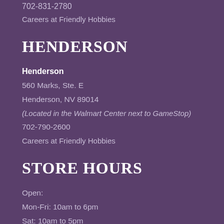702-831-2780
Careers at Friendly Hobbies
HENDERSON
Henderson
560 Marks, Ste. E
Henderson, NV 89014
(Located in the Walmart Center next to GameStop)
702-790-2600
Careers at Friendly Hobbies
STORE HOURS
Open:
Mon-Fri: 10am to 6pm
Sat: 10am to 5pm